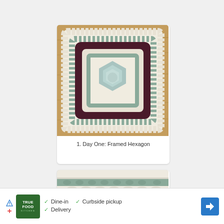[Figure (photo): Crocheted granny square with framed hexagon design. Center is light blue hexagon, surrounded by cream, dark maroon/burgundy, and sage green rings, on a wooden surface. Watermark reads 'donia lou'.]
1. Day One: Framed Hexagon
[Figure (photo): Crocheted rectangular swatch with horizontal stripe pattern in cream/white and sage/blue-gray colors, showing textured cable-like stitch pattern.]
[Figure (other): Advertisement banner: True Food Kitchen logo (green square with white text), checkmarks for Dine-in, Curbside pickup, Delivery, and a blue navigation arrow icon.]